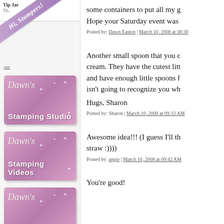Tip Jar
[Figure (illustration): Diagonal ribbon banner reading 'Hi, Stampers!' in italic text on purple/mauve background]
[Figure (logo): Dawn's Stamping Studio pink logo box with script and sans-serif text and sparkle effects]
[Figure (logo): Dawn's Stamping Videos pink logo box with script and sans-serif text and sparkle effects]
[Figure (logo): Dawn's Galleries pink logo box with script and sans-serif text and sparkle effects]
some containers to put all my g Hope your Saturday event was
Posted by: Dawn Easton | March 10, 2008 at 08:30
Another small spoon that you c cream. They have the cutest litt and have enough little spoons f isn't going to recognize you wh
Hugs, Sharon
Posted by: Sharon | March 10, 2008 at 09:33 AM
Awesome idea!!! (I guess I'll th straw :))))
Posted by: angie | March 10, 2008 at 09:42 AM
You're good!